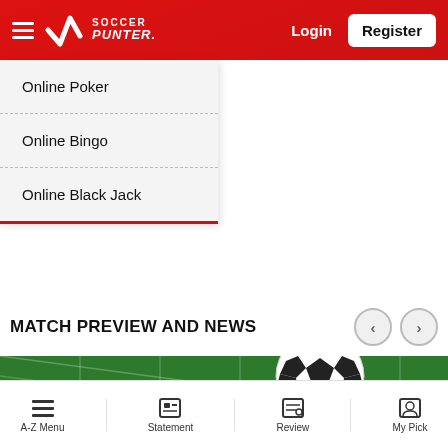[Figure (screenshot): Soccer Punter website header with red background, hamburger menu, logo, Login and Register buttons]
Online Poker
Online Bingo
Online Black Jack
MATCH PREVIEW AND NEWS
[Figure (photo): Close-up of a soccer ball on green grass/net background]
A-Z Menu   Statement   Review   My Pick